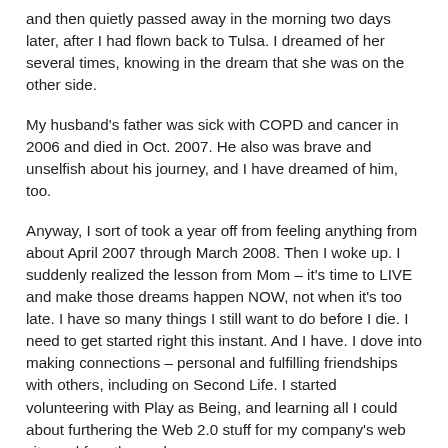and then quietly passed away in the morning two days later, after I had flown back to Tulsa. I dreamed of her several times, knowing in the dream that she was on the other side.
My husband's father was sick with COPD and cancer in 2006 and died in Oct. 2007. He also was brave and unselfish about his journey, and I have dreamed of him, too.
Anyway, I sort of took a year off from feeling anything from about April 2007 through March 2008. Then I woke up. I suddenly realized the lesson from Mom – it's time to LIVE and make those dreams happen NOW, not when it's too late. I have so many things I still want to do before I die. I need to get started right this instant. And I have. I dove into making connections – personal and fulfilling friendships with others, including on Second Life. I started volunteering with Play as Being, and learning all I could about furthering the Web 2.0 stuff for my company's web site and for other web